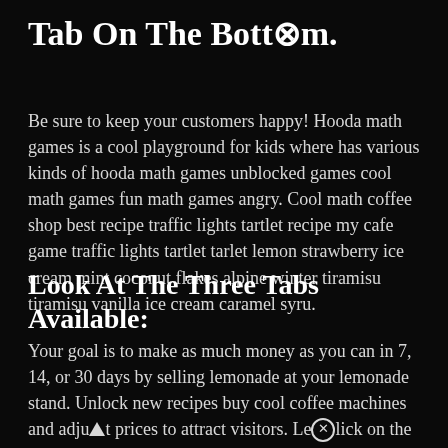Tab On The Bottom.
Be sure to keep your customers happy! Hooda math games is a cool playground for kids where has various kinds of hooda math games unblocked games cool math games fun math games angry. Cool math coffee shop best recipe traffic lights tartlet recipe my cafe game traffic lights tartlet tarlet lemon strawberry ice cream mint coconut flakes alpine winter tiramisu tiramisu vanilla ice cream caramel syru.
Look At The Three Tabs Available:
Your goal is to make as much money as you can in 7, 14, or 30 days by selling lemonade at your lemonade stand. Unlock new recipes buy cool coffee machines and adjust prices to attract visitors. Leⓧlick on the “coffee” tab and